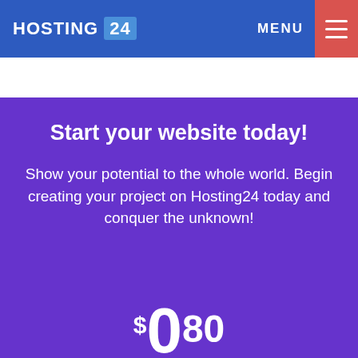HOSTING 24 | MENU
Start your website today!
Show your potential to the whole world. Begin creating your project on Hosting24 today and conquer the unknown!
$0.80